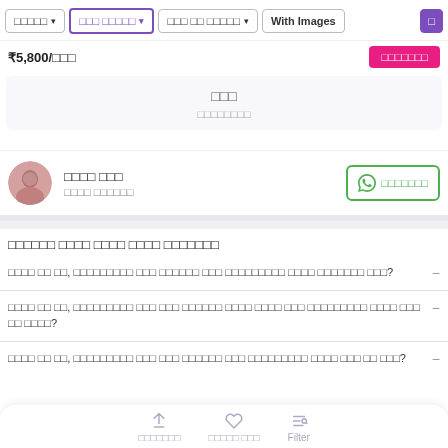Filter buttons: [dropdown] [selected dropdown] [dropdown] With Images [button]
₹5,800/□□□
□□□□□□□
□□□
□□□□□□□□
□□□□ □□□
□□□□ □□□□□□
□□□□□□□
□□□□□□ □□□□ □□□□ □□□□ □□□□□□□
□□□□ □□ □□, □□□□□□□□□ □□□ □□□□□□ □□□ □□□□□□□□□ □□□□ □□□□□□□ □□□?
□□□□ □□ □□, □□□□□□□□□ □□□ □□□ □□□□□□ □□□□ □□□□ □□□ □□□□□□□□□ □□□□ □□□ □□ □□□□?
□□□□ □□ □□, □□□□□□□□□ □□□ □□□ □□□□□□ □□□ □□□□□□□□□ □□□□ □□□ □□ □□□?
□□□□□□□  □□□□□ □□□  Filter